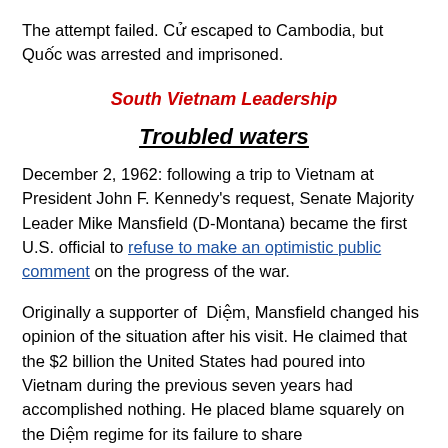The attempt failed. Cử escaped to Cambodia, but Quốc was arrested and imprisoned.
South Vietnam Leadership
Troubled waters
December 2, 1962: following a trip to Vietnam at President John F. Kennedy's request, Senate Majority Leader Mike Mansfield (D-Montana) became the first U.S. official to refuse to make an optimistic public comment on the progress of the war.
Originally a supporter of Diệm, Mansfield changed his opinion of the situation after his visit. He claimed that the $2 billion the United States had poured into Vietnam during the previous seven years had accomplished nothing. He placed blame squarely on the Diệm regime for its failure to share